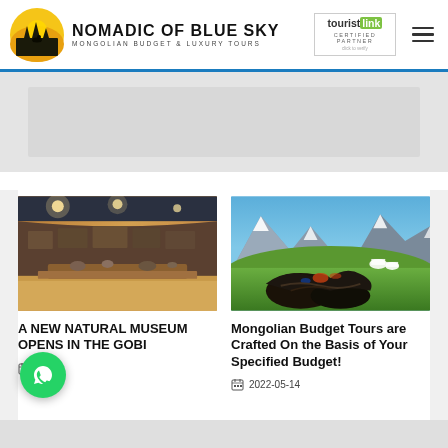NOMADIC OF BLUE SKY — MONGOLIAN BUDGET & LUXURY TOURS
[Figure (photo): Indoor museum exhibit with warm lighting, curved stone wall display, diorama]
A NEW NATURAL MUSEUM OPENS IN THE GOBI
2022-05-24
[Figure (photo): Mongolian saddles and riding gear on green grass with snow-capped mountains and white yurts in background]
Mongolian Budget Tours are Crafted On the Basis of Your Specified Budget!
2022-05-14